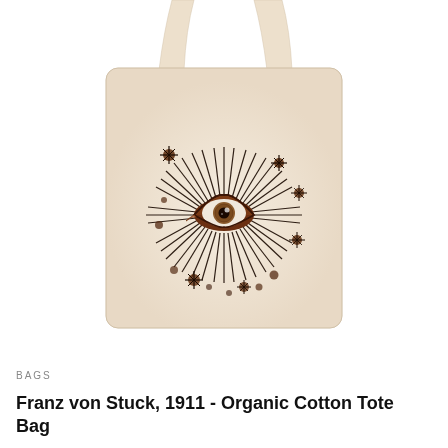[Figure (photo): A cream/off-white organic cotton tote bag with two shoulder straps. The bag features a printed design of a stylized human eye surrounded by radiating lash-like spikes and small star/flower shapes in dark brown and black, inspired by Franz von Stuck's 1911 artwork.]
BAGS
Franz von Stuck, 1911 - Organic Cotton Tote Bag